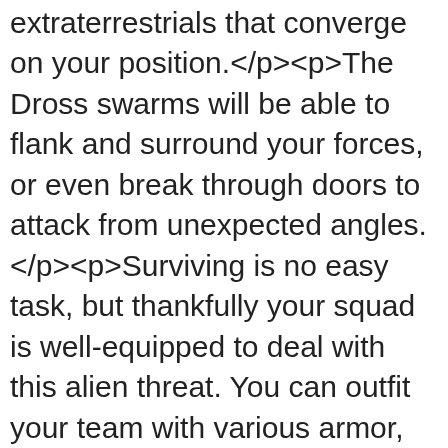swarms of ravenous extraterrestrials that converge on your position.</p><p>The Dross swarms will be able to flank and surround your forces, or even break through doors to attack from unexpected angles.</p><p>Surviving is no easy task, but thankfully your squad is well-equipped to deal with this alien threat. You can outfit your team with various armor, weapons, and gear, to tackle any combat encounter.</p><p>As commander, you'll need to make the tough decisions, telling your team to hold a defensive position against an incoming wave or go on the offensive with overwhelming firepower.</p><p>Derelict is currently in development, and is expected to release on iOS and Android devices. You can learn more about the game on